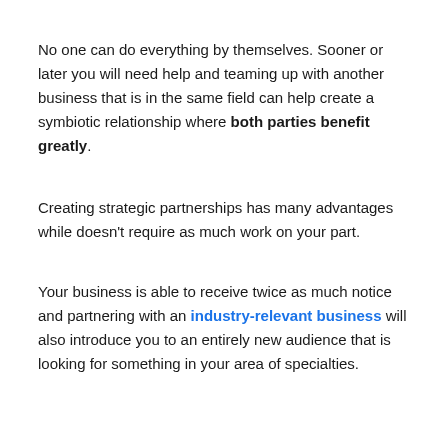No one can do everything by themselves. Sooner or later you will need help and teaming up with another business that is in the same field can help create a symbiotic relationship where both parties benefit greatly.
Creating strategic partnerships has many advantages while doesn't require as much work on your part.
Your business is able to receive twice as much notice and partnering with an industry-relevant business will also introduce you to an entirely new audience that is looking for something in your area of specialties.